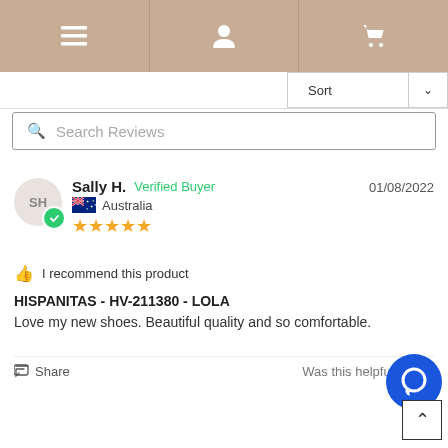Navigation bar with menu, user, and cart icons
Sort
Search Reviews
Sally H.  Verified Buyer  01/08/2022  Australia  ★★★★★
I recommend this product
HISPANITAS - HV-211380 - LOLA
Love my new shoes. Beautiful quality and so comfortable.
Share  Was this helpful?  0